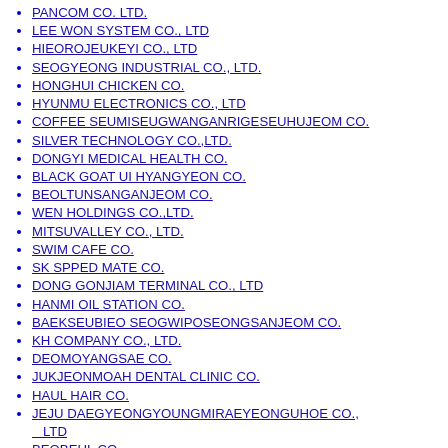PANCOM CO. LTD.
LEE WON SYSTEM CO., LTD
HIEOROJEUKEYI CO., LTD
SEOGYEONG INDUSTRIAL CO., LTD.
HONGHUI CHICKEN CO.
HYUNMU ELECTRONICS CO., LTD
COFFEE SEUMISEUGWANGANRIGESEUHUJEOM CO.
SILVER TECHNOLOGY CO.,LTD.
DONGYI MEDICAL HEALTH CO.
BLACK GOAT UI HYANGYEON CO.
BEOLTUNSANGANJEOM CO.
WEN HOLDINGS CO.,LTD.
MITSUVALLEY CO., LTD.
SWIM CAFE CO.
SK SPPED MATE CO.
DONG GONJIAM TERMINAL CO., LTD
HANMI OIL STATION CO.
BAEKSEUBIEO SEOGWIPOSEONGSANJEOM CO.
KH COMPANY CO., LTD.
DEOMOYANGSAE CO.
JUKJEONMOAH DENTAL CLINIC CO.
HAUL HAIR CO.
JEJU DAEGYEONGYOUNGMIRAEYEONGUHOE CO., LTD
BEOBEUL CO.